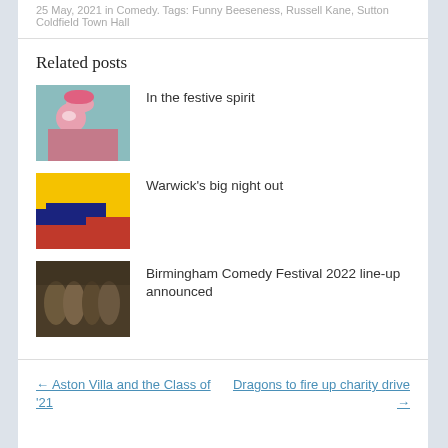25 May, 2021 in Comedy. Tags: Funny Beeseness, Russell Kane, Sutton Coldfield Town Hall
Related posts
In the festive spirit
Warwick's big night out
Birmingham Comedy Festival 2022 line-up announced
← Aston Villa and the Class of '21
Dragons to fire up charity drive →